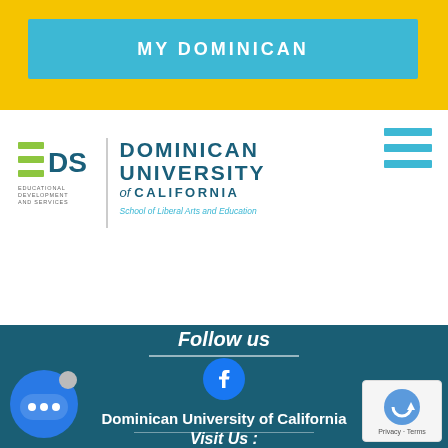MY DOMINICAN
[Figure (logo): EDS Educational Development and Services logo alongside Dominican University of California, School of Liberal Arts and Education text logo]
Follow us
[Figure (illustration): Facebook circular icon button in blue]
Dominican University of California
Visit Us :
[Figure (illustration): Map/location pin icon in white]
50 Acacia Ave
San Rafael, CA 94901
[Figure (illustration): Chat bubble widget with ellipsis icon in bottom left]
[Figure (other): Google reCAPTCHA badge showing Privacy and Terms in bottom right corner]